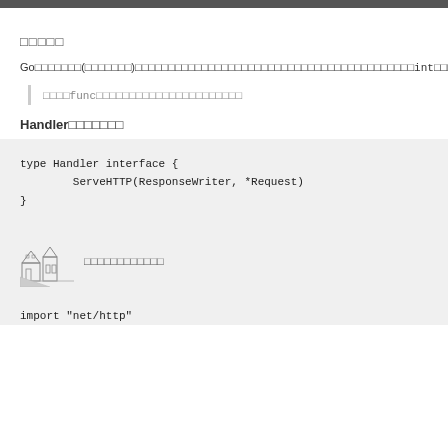□□□□□
Go□□□□□□□(□□□□□□□)□□□□□□□□□□□□□□□□□□□□□□□□□□□□□□□□□□□□□□□□□□int□□□□□□□□□□□□□□□□□□□□□□□□□□□□□ServeHTTP□□□□□□□□HTTP□□□
□□□□func□□□□□□□□□□□□□□□□□□□□□□
Handler□□□□□□□
type Handler interface {
        ServeHTTP(ResponseWriter, *Request)
}
[Figure (illustration): Small sketch illustration of a building/town scene]
□□□□□□□□□□□□
import "net/http"